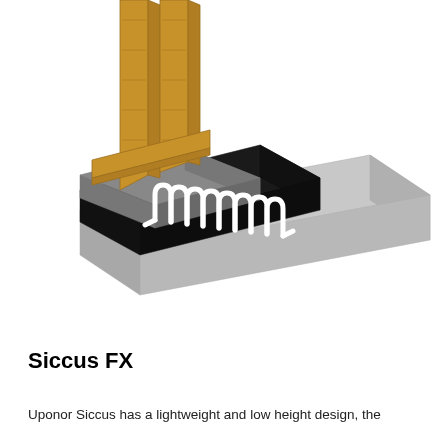[Figure (illustration): 3D isometric illustration of an underfloor radiant heating system (Uponor Siccus FX), showing serpentine white heating pipes laid on a dark insulation mat panel, placed on a grey concrete slab, with wooden structural framing members visible above on the left side.]
Siccus FX
Uponor Siccus has a lightweight and low height design, the